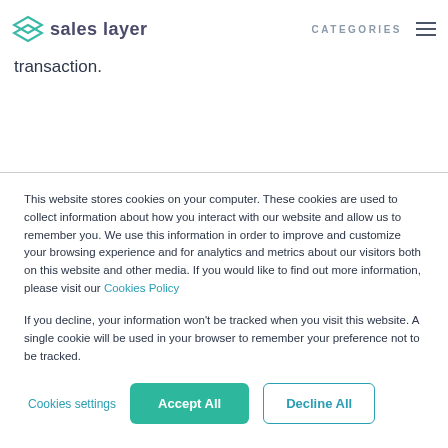sales layer | CATEGORIES
fees (unless you sign up to a customized service), but a flat fee of 2.90% + 0.35 euro per transaction.
This website stores cookies on your computer. These cookies are used to collect information about how you interact with our website and allow us to remember you. We use this information in order to improve and customize your browsing experience and for analytics and metrics about our visitors both on this website and other media. If you would like to find out more information, please visit our Cookies Policy
If you decline, your information won't be tracked when you visit this website. A single cookie will be used in your browser to remember your preference not to be tracked.
Cookies settings | Accept All | Decline All